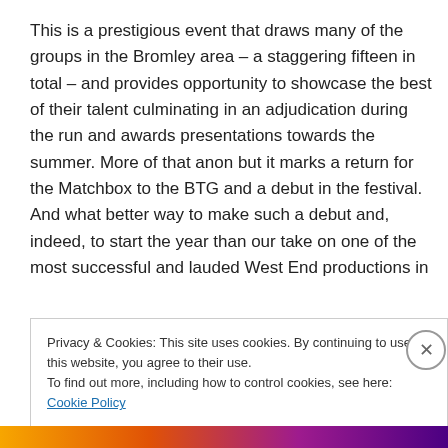This is a prestigious event that draws many of the groups in the Bromley area – a staggering fifteen in total – and provides opportunity to showcase the best of their talent culminating in an adjudication during the run and awards presentations towards the summer. More of that anon but it marks a return for the Matchbox to the BTG and a debut in the festival. And what better way to make such a debut and, indeed, to start the year than our take on one of the most successful and lauded West End productions in
Privacy & Cookies: This site uses cookies. By continuing to use this website, you agree to their use.
To find out more, including how to control cookies, see here: Cookie Policy